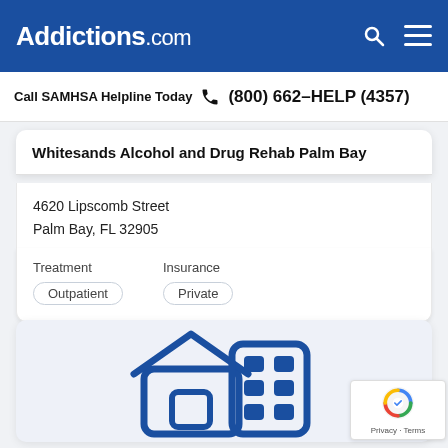Addictions.com
Call SAMHSA Helpline Today  (800) 662-HELP (4357)
Whitesands Alcohol and Drug Rehab Palm Bay
4620 Lipscomb Street
Palm Bay, FL 32905
Treatment
Outpatient
Insurance
Private
[Figure (illustration): Building/house icon in dark blue on light blue-grey background representing a rehabilitation facility]